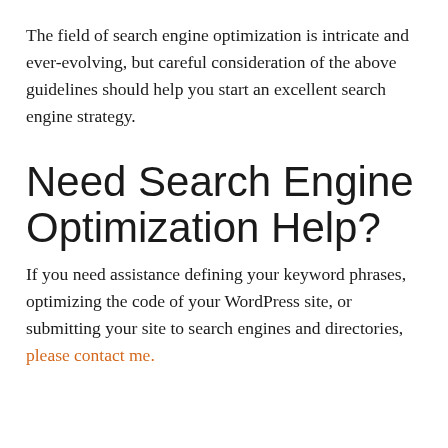The field of search engine optimization is intricate and ever-evolving, but careful consideration of the above guidelines should help you start an excellent search engine strategy.
Need Search Engine Optimization Help?
If you need assistance defining your keyword phrases, optimizing the code of your WordPress site, or submitting your site to search engines and directories, please contact me.